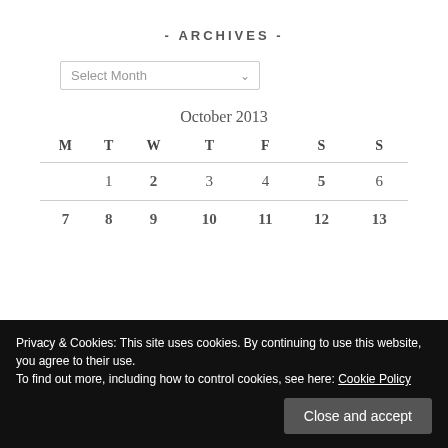- ARCHIVES -
Select Month
October 2013
| M | T | W | T | F | S | S |
| --- | --- | --- | --- | --- | --- | --- |
|  | 1 | 2 | 3 | 4 | 5 | 6 |
| 7 | 8 | 9 | 10 | 11 | 12 | 13 |
Privacy & Cookies: This site uses cookies. By continuing to use this website, you agree to their use.
To find out more, including how to control cookies, see here: Cookie Policy
Close and accept